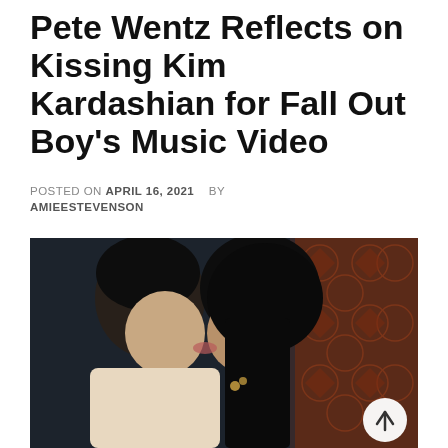Pete Wentz Reflects on Kissing Kim Kardashian for Fall Out Boy's Music Video
POSTED ON APRIL 16, 2021   BY AMIEESTEVENSON
[Figure (photo): Photo still from a music video showing two people kissing — a young man with dark messy hair wearing a light-colored jacket on the left, and a woman with long dark hair on the right, with a patterned wallpaper in the background.]